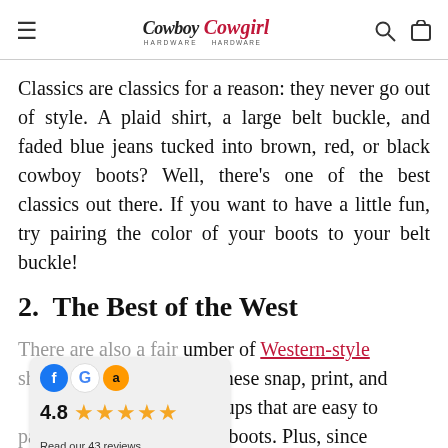Cowboy Hardware / Cowgirl Hardware
Classics are classics for a reason: they never go out of style. A plaid shirt, a large belt buckle, and faded blue jeans tucked into brown, red, or black cowboy boots? Well, there's one of the best classics out there. If you want to have a little fun, try pairing the color of your boots to your belt buckle!
2.  The Best of the West
There are also a fair number of Western-style shirts on the market. These snap, print, and pull-on shirts are button-ups that are easy to pair with any style of cowboy boots. Plus, since you can choose between both short and long-